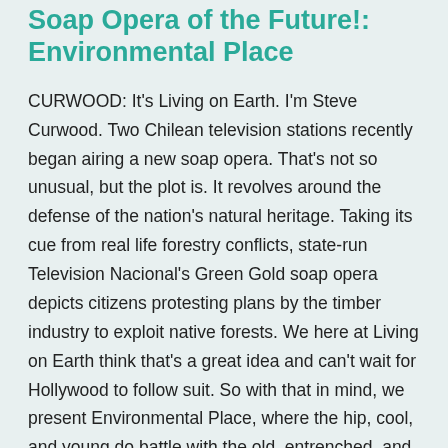Soap Opera of the Future!: Environmental Place
CURWOOD: It's Living on Earth. I'm Steve Curwood. Two Chilean television stations recently began airing a new soap opera. That's not so unusual, but the plot is. It revolves around the defense of the nation's natural heritage. Taking its cue from real life forestry conflicts, state-run Television Nacional's Green Gold soap opera depicts citizens protesting plans by the timber industry to exploit native forests. We here at Living on Earth think that's a great idea and can't wait for Hollywood to follow suit. So with that in mind, we present Environmental Place, where the hip, cool, and young do battle with the old, entrenched, and powerful.
(Dramatic music. Ambient voices. A phone rings.)
A CHU TN Hello, Sorry, Rrrr... A long... Sh...